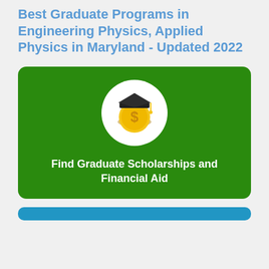Best Graduate Programs in Engineering Physics, Applied Physics in Maryland - Updated 2022
[Figure (illustration): Green card with a white circular icon showing a gold coin with a dollar sign topped with a graduation cap, and white bold text reading 'Find Graduate Scholarships and Financial Aid']
[Figure (illustration): Blue rounded rectangle strip at the bottom of the page]